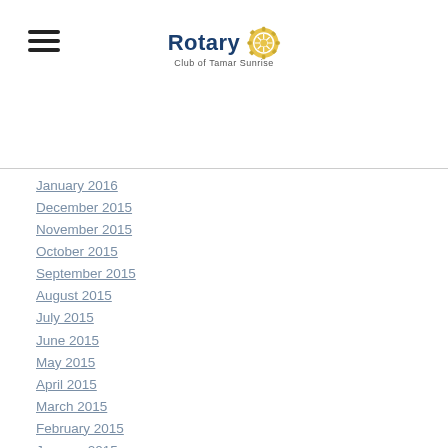Rotary Club of Tamar Sunrise
January 2016
December 2015
November 2015
October 2015
September 2015
August 2015
July 2015
June 2015
May 2015
April 2015
March 2015
February 2015
January 2015
November 2014
October 2014
September 2014
August 2014
July 2014